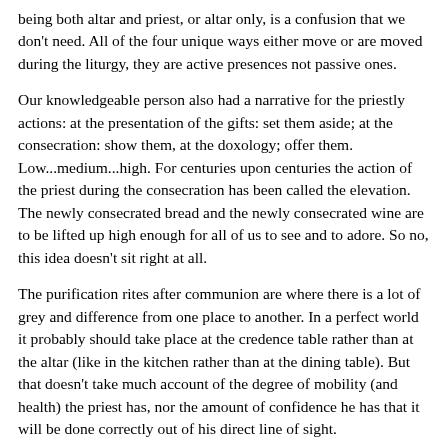being both altar and priest, or altar only, is a confusion that we don't need. All of the four unique ways either move or are moved during the liturgy, they are active presences not passive ones.
Our knowledgeable person also had a narrative for the priestly actions: at the presentation of the gifts: set them aside; at the consecration: show them, at the doxology; offer them. Low...medium...high. For centuries upon centuries the action of the priest during the consecration has been called the elevation. The newly consecrated bread and the newly consecrated wine are to be lifted up high enough for all of us to see and to adore. So no, this idea doesn't sit right at all.
The purification rites after communion are where there is a lot of grey and difference from one place to another. In a perfect world it probably should take place at the credence table rather than at the altar (like in the kitchen rather than at the dining table). But that doesn't take much account of the degree of mobility (and health) the priest has, nor the amount of confidence he has that it will be done correctly out of his direct line of sight.
Another thing our knowledgeable person had to say was that when